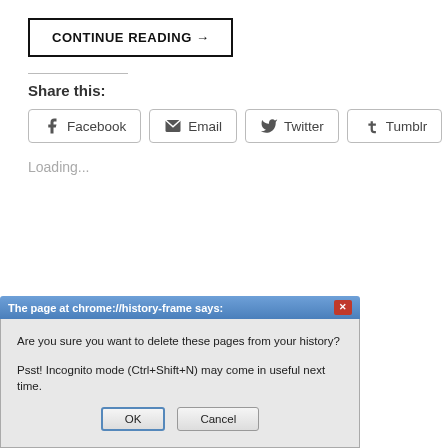CONTINUE READING →
Share this:
Facebook  Email  Twitter  Tumblr
Loading...
[Figure (screenshot): Chrome browser dialog box titled 'The page at chrome://history-frame says:' with message 'Are you sure you want to delete these pages from your history? Psst! Incognito mode (Ctrl+Shift+N) may come in useful next time.' and OK / Cancel buttons.]